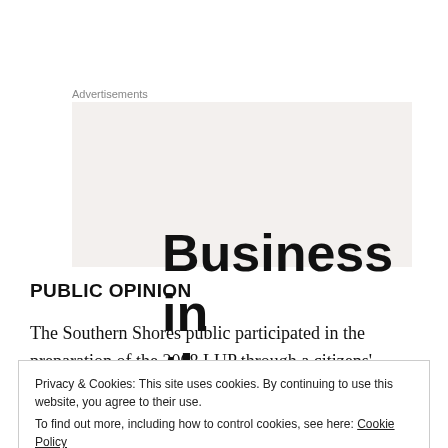Advertisements
[Figure (other): Advertisement banner with large bold text reading 'Business in the front...' on a light beige/grey background]
PUBLIC OPINION
The Southern Shores public participated in the preparation of the 2008 LUP through a citizens' survey,
Privacy & Cookies: This site uses cookies. By continuing to use this website, you agree to their use.
To find out more, including how to control cookies, see here: Cookie Policy